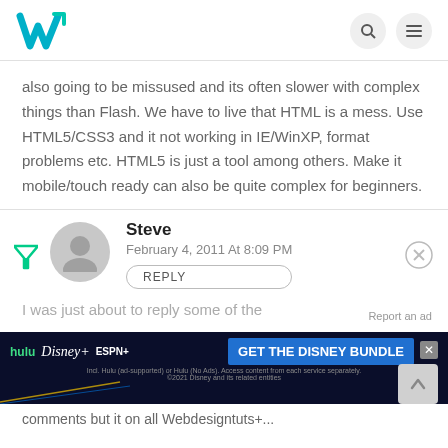Webdesigntuts+ logo with search and menu icons
also going to be missused and its often slower with complex things than Flash. We have to live that HTML is a mess. Use HTML5/CSS3 and it not working in IE/WinXP, format problems etc. HTML5 is just a tool among others. Make it mobile/touch ready can also be quite complex for beginners.
Steve
February 4, 2011 At 8:09 PM
REPLY
[Figure (screenshot): Disney Bundle advertisement banner: hulu, Disney+, ESPN+ logos with GET THE DISNEY BUNDLE CTA button]
comments but it on all Webdesigntuts+...